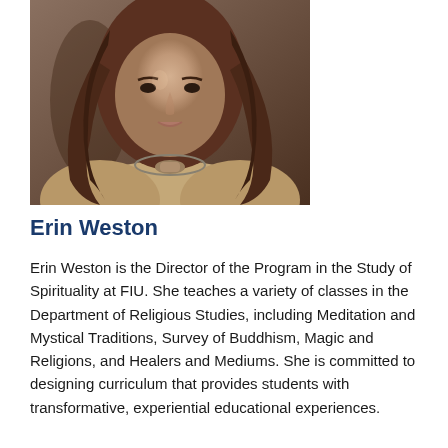[Figure (photo): Headshot photo of Erin Weston, a woman with long dark brown wavy hair wearing a beige/tan top and decorative necklace, seated in a chair]
Erin Weston
Erin Weston is the Director of the Program in the Study of Spirituality at FIU. She teaches a variety of classes in the Department of Religious Studies, including Meditation and Mystical Traditions, Survey of Buddhism, Magic and Religions, and Healers and Mediums. She is committed to designing curriculum that provides students with transformative, experiential educational experiences.